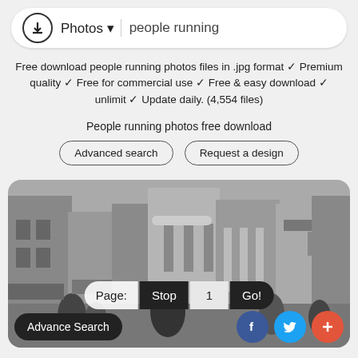[Figure (screenshot): Search bar with download icon, Photos dropdown, and 'people running' query text]
Free download people running photos files in .jpg format ✓ Premium quality ✓ Free for commercial use ✓ Free & easy download ✓ unlimit ✓ Update daily. (4,554 files)
People running photos free download
[Figure (screenshot): Two rounded buttons: 'Advanced search' and 'Request a design']
[Figure (photo): Black and white photo of a busy city street with people walking and historic buildings in the background]
Page:  Stop  1  Go!
Advance Search
[Figure (screenshot): Social media buttons: Facebook (blue), Twitter (light blue), and a red plus button]